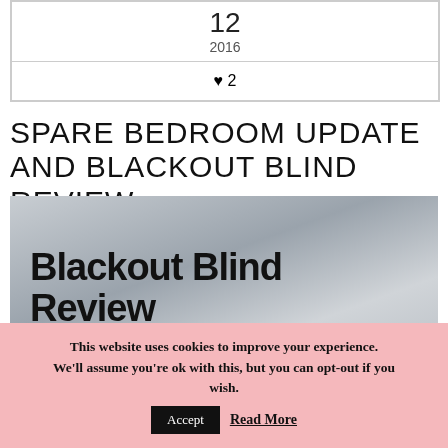| 12 | 2016 |
| ♥ 2 |
SPARE BEDROOM UPDATE AND BLACKOUT BLIND REVIEW
[Figure (photo): Photo of a window with sheer curtains and a blackout blind, with handwritten-style text overlay reading 'Blackout Blind Review']
This website uses cookies to improve your experience. We'll assume you're ok with this, but you can opt-out if you wish. Accept Read More